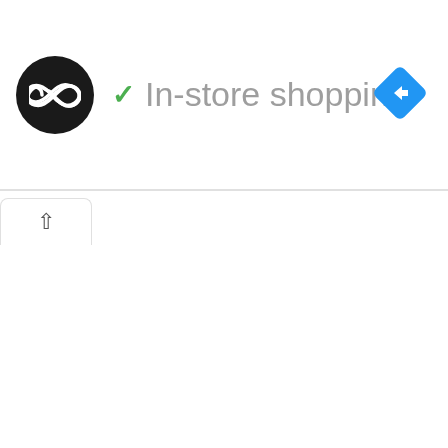[Figure (screenshot): App UI header showing a black circular logo with infinity-like symbol, a green checkmark, the text 'In-store shopping' in gray, and a blue diamond navigation icon on the right.]
[Figure (screenshot): Bottom UI area showing ad icons (play triangle and X in blue), a tab with an up caret, and a partial Amazon banner with black logo box and yellow/gold bar.]